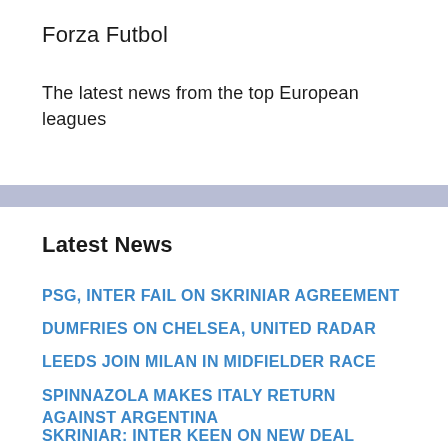Forza Futbol
The latest news from the top European leagues
Latest News
PSG, INTER FAIL ON SKRINIAR AGREEMENT
DUMFRIES ON CHELSEA, UNITED RADAR
LEEDS JOIN MILAN IN MIDFIELDER RACE
SPINNAZOLA MAKES ITALY RETURN AGAINST ARGENTINA
SKRINIAR: INTER KEEN ON NEW DEAL